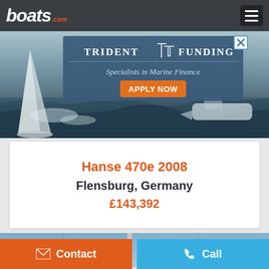boats.com
[Figure (screenshot): Trident Funding advertisement banner over sailing boat photo background. Shows 'TRIDENT FUNDING - Specialists in Marine Finance' with an orange 'APPLY NOW' button and a close X button.]
Hanse 470e 2008
Flensburg, Germany
£143,392
[Figure (photo): Two side-by-side photos showing boat mast reaching into blue sky with bare winter trees in background.]
Contact
Call